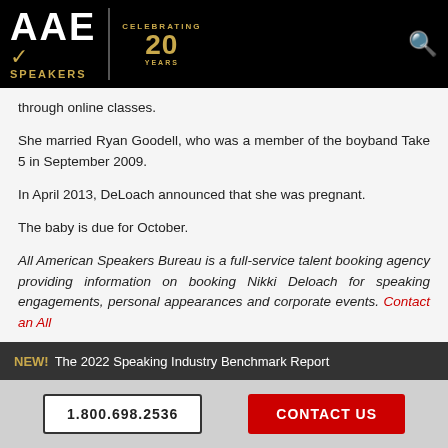AAE SPEAKERS — Celebrating 20 Years
through online classes.
She married Ryan Goodell, who was a member of the boyband Take 5 in September 2009.
In April 2013, DeLoach announced that she was pregnant.
The baby is due for October.
All American Speakers Bureau is a full-service talent booking agency providing information on booking Nikki Deloach for speaking engagements, personal appearances and corporate events. Contact an All
NEW! The 2022 Speaking Industry Benchmark Report
1.800.698.2536  CONTACT US